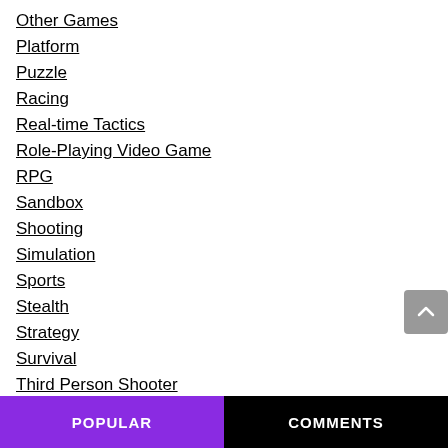Other Games
Platform
Puzzle
Racing
Real-time Tactics
Role-Playing Video Game
RPG
Sandbox
Shooting
Simulation
Sports
Stealth
Strategy
Survival
Third Person Shooter
POPULAR   COMMENTS